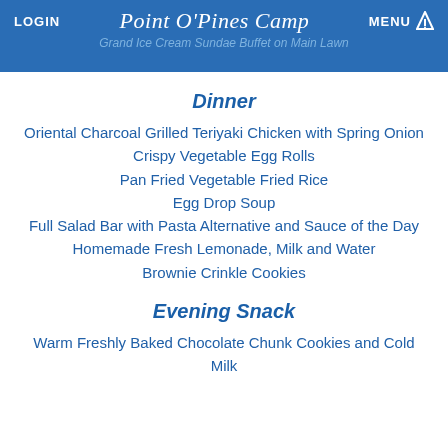LOGIN  Point O'Pines Camp  MENU
Grand Ice Cream Sundae Buffet on Main Lawn
Dinner
Oriental Charcoal Grilled Teriyaki Chicken with Spring Onion
Crispy Vegetable Egg Rolls
Pan Fried Vegetable Fried Rice
Egg Drop Soup
Full Salad Bar with Pasta Alternative and Sauce of the Day
Homemade Fresh Lemonade, Milk and Water
Brownie Crinkle Cookies
Evening Snack
Warm Freshly Baked Chocolate Chunk Cookies and Cold Milk